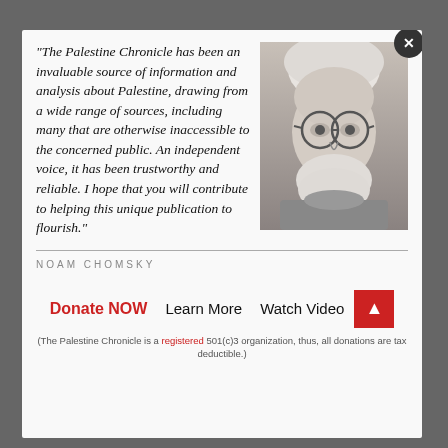[Figure (photo): Black and white photograph of an elderly man with white hair, white beard, and round glasses, facing the camera with a slight smile.]
"The Palestine Chronicle has been an invaluable source of information and analysis about Palestine, drawing from a wide range of sources, including many that are otherwise inaccessible to the concerned public. An independent voice, it has been trustworthy and reliable. I hope that you will contribute to helping this unique publication to flourish."
NOAM CHOMSKY
Donate NOW   Learn More   Watch Video
(The Palestine Chronicle is a registered 501(c)3 organization, thus, all donations are tax deductible.)